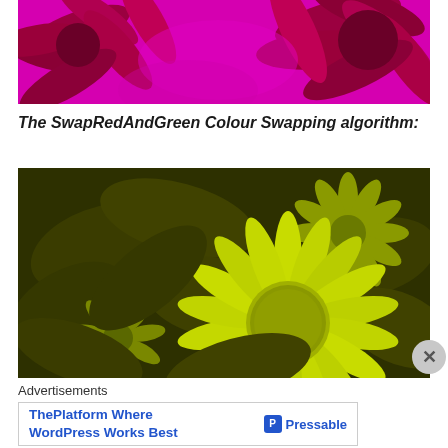[Figure (photo): Magenta/pink background with deep red chrysanthemum flowers viewed from above, color-swapped image with vivid pink/magenta tones]
The SwapRedAndGreen Colour Swapping algorithm:
[Figure (photo): Daisy/sunflower-type flowers with green and yellow-green color tones on dark olive background, color-swapped image showing SwapRedAndGreen algorithm result]
Advertisements
ThePlatform Where WordPress Works Best  Pressable